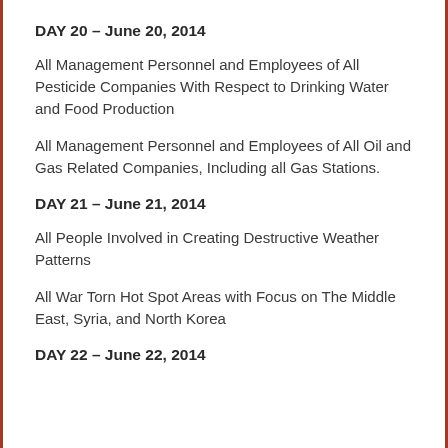DAY 20 – June 20, 2014
All Management Personnel and Employees of All Pesticide Companies With Respect to Drinking Water and Food Production
All Management Personnel and Employees of All Oil and Gas Related Companies, Including all Gas Stations.
DAY 21 – June 21, 2014
All People Involved in Creating Destructive Weather Patterns
All War Torn Hot Spot Areas with Focus on The Middle East, Syria, and North Korea
DAY 22 – June 22, 2014